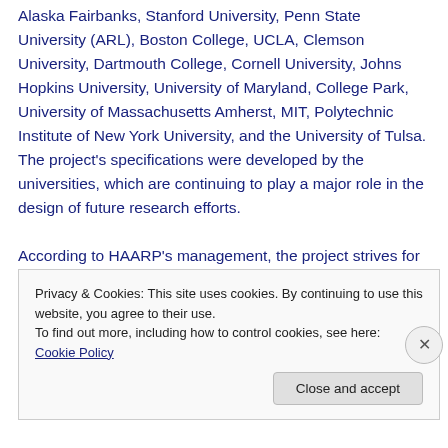Alaska Fairbanks, Stanford University, Penn State University (ARL), Boston College, UCLA, Clemson University, Dartmouth College, Cornell University, Johns Hopkins University, University of Maryland, College Park, University of Massachusetts Amherst, MIT, Polytechnic Institute of New York University, and the University of Tulsa. The project's specifications were developed by the universities, which are continuing to play a major role in the design of future research efforts.
According to HAARP's management, the project strives for openness, and all activities are logged and publicly
Privacy & Cookies: This site uses cookies. By continuing to use this website, you agree to their use.
To find out more, including how to control cookies, see here: Cookie Policy